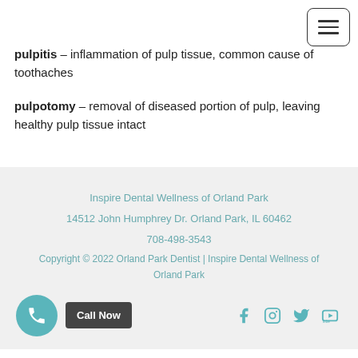pulpitis – inflammation of pulp tissue, common cause of toothaches
pulpotomy – removal of diseased portion of pulp, leaving healthy pulp tissue intact
Inspire Dental Wellness of Orland Park
14512 John Humphrey Dr. Orland Park, IL 60462
708-498-3543
Copyright © 2022 Orland Park Dentist | Inspire Dental Wellness of Orland Park